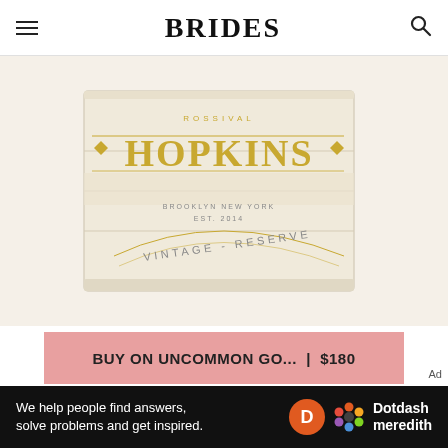BRIDES
[Figure (photo): A personalized wooden wine box labeled 'HOPKINS' with gold text reading 'VINTAGE RESERVE' and 'BROOKLYN, NEW YORK EST. 2014']
BUY ON UNCOMMON GO... | $180
Looking for a wedding gift that the couple is pretty much guaranteed to use throughout the first five years of their
Ad We help people find answers, solve problems and get inspired. Dotdash meredith